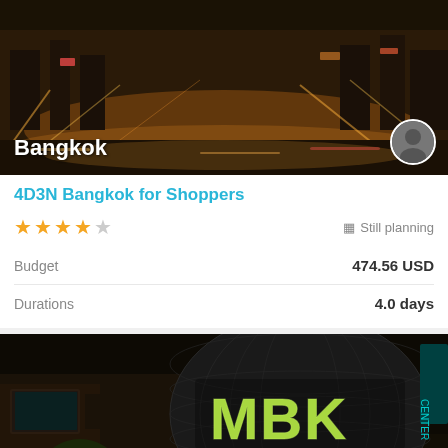[Figure (photo): Nighttime Bangkok city street scene with lights and traffic, showing 'Bangkok' label and user avatar]
4D3N Bangkok for Shoppers
★★★★☆  Still planning
|  |  |
| --- | --- |
| Budget | 474.56 USD |
| Durations | 4.0 days |
[Figure (photo): Nighttime Bangkok MBK shopping center with large illuminated MBK sign on dark sphere structure, 'Bangkok' label, 'Scroll to top' button, and user avatar]